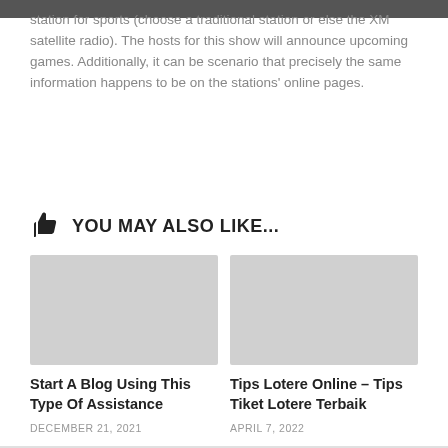station for sports (choose a traditional station or else the XM satellite radio). The hosts for this show will announce upcoming games. Additionally, it can be scenario that precisely the same information happens to be on the stations' online pages.
YOU MAY ALSO LIKE...
[Figure (photo): Placeholder image (light gray rectangle) for article 'Start A Blog Using This Type Of Assistance']
Start A Blog Using This Type Of Assistance
DECEMBER 21, 2021
[Figure (photo): Placeholder image (light gray rectangle) for article 'Tips Lotere Online – Tips Tiket Lotere Terbaik']
Tips Lotere Online – Tips Tiket Lotere Terbaik
APRIL 7, 2022